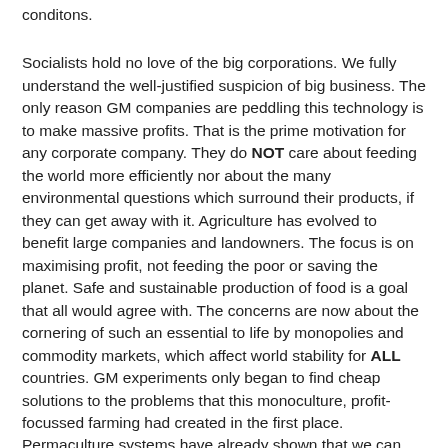conditons.
Socialists hold no love of the big corporations. We fully understand the well-justified suspicion of big business. The only reason GM companies are peddling this technology is to make massive profits. That is the prime motivation for any corporate company. They do NOT care about feeding the world more efficiently nor about the many environmental questions which surround their products, if they can get away with it. Agriculture has evolved to benefit large companies and landowners. The focus is on maximising profit, not feeding the poor or saving the planet. Safe and sustainable production of food is a goal that all would agree with. The concerns are now about the cornering of such an essential to life by monopolies and commodity markets, which affect world stability for ALL countries. GM experiments only began to find cheap solutions to the problems that this monoculture, profit-focussed farming had created in the first place. Permaculture systems have already shown that we can grow a surplus of crops without the need for GM. "...when yield is measured in pounds per acre,small peasant and family farms regularly out-produce